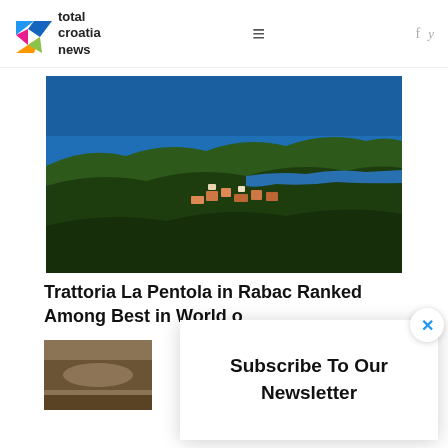total croatia news
[Figure (photo): Aerial view of a coastal Croatian town (Rabac) with lush green forest in foreground, red-roofed buildings nestled among trees, and deep blue Adriatic sea in background]
Trattoria La Pentola in Rabac Ranked Among Best in World o
[Figure (photo): Small thumbnail image of food dish, partially visible]
Subscribe To Our Newsletter
×